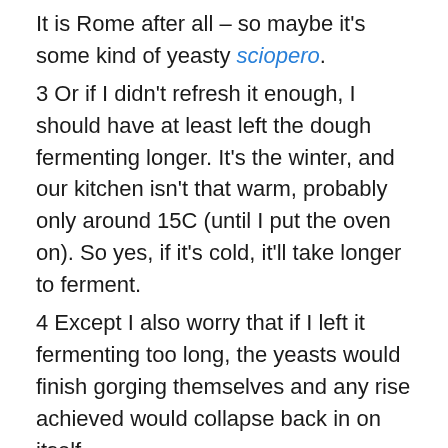It is Rome after all – so maybe it's some kind of yeasty sciopero.
3 Or if I didn't refresh it enough, I should have at least left the dough fermenting longer. It's the winter, and our kitchen isn't that warm, probably only around 15C (until I put the oven on). So yes, if it's cold, it'll take longer to ferment.
4 Except I also worry that if I left it fermenting too long, the yeasts would finish gorging themselves and any rise achieved would collapse back in on itself.
5 Some sources also talk about how you have to adjust the water. Well, I reduced it slightly from Dan L's original recipe, and the dough did feel pretty good while I was working it. I dunno though , this place says "Too much [water], and the dough is sticky and weak and will not be able to hold the gasses that are produced during the